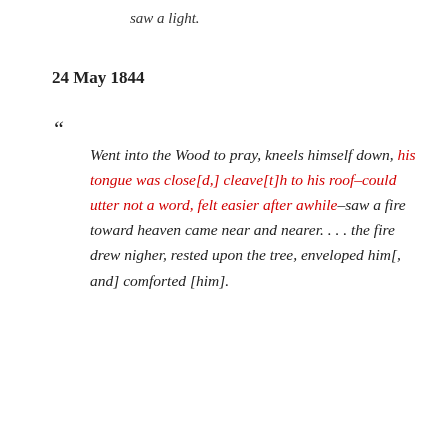saw a light.
24 May 1844
“ Went into the Wood to pray, kneels himself down, his tongue was close[d,] cleave[t]h to his roof–could utter not a word, felt easier after awhile–saw a fire toward heaven came near and nearer. . . . the fire drew nigher, rested upon the tree, enveloped him[, and] comforted [him].